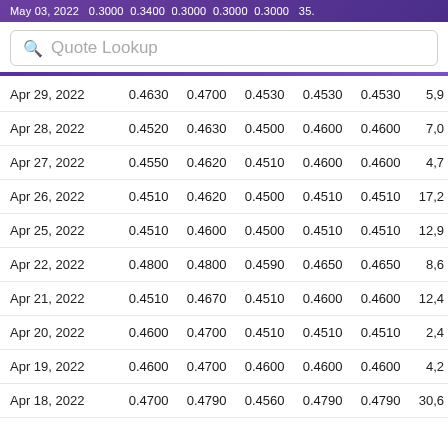May 03, 2022  0.3000  0.3400  0.3000  0.3000  0.3000  35.
| Date | Open | High | Low | Close | Adj Close | Volume |
| --- | --- | --- | --- | --- | --- | --- |
| Apr 29, 2022 | 0.4630 | 0.4700 | 0.4530 | 0.4530 | 0.4530 | 5,9 |
| Apr 28, 2022 | 0.4520 | 0.4630 | 0.4500 | 0.4600 | 0.4600 | 7,0 |
| Apr 27, 2022 | 0.4550 | 0.4620 | 0.4510 | 0.4600 | 0.4600 | 4,7 |
| Apr 26, 2022 | 0.4510 | 0.4620 | 0.4500 | 0.4510 | 0.4510 | 17,2 |
| Apr 25, 2022 | 0.4510 | 0.4600 | 0.4500 | 0.4510 | 0.4510 | 12,9 |
| Apr 22, 2022 | 0.4800 | 0.4800 | 0.4590 | 0.4650 | 0.4650 | 8,6 |
| Apr 21, 2022 | 0.4510 | 0.4670 | 0.4510 | 0.4600 | 0.4600 | 12,4 |
| Apr 20, 2022 | 0.4600 | 0.4700 | 0.4510 | 0.4510 | 0.4510 | 2,4 |
| Apr 19, 2022 | 0.4600 | 0.4700 | 0.4600 | 0.4600 | 0.4600 | 4,2 |
| Apr 18, 2022 | 0.4700 | 0.4790 | 0.4560 | 0.4790 | 0.4790 | 30,6 |